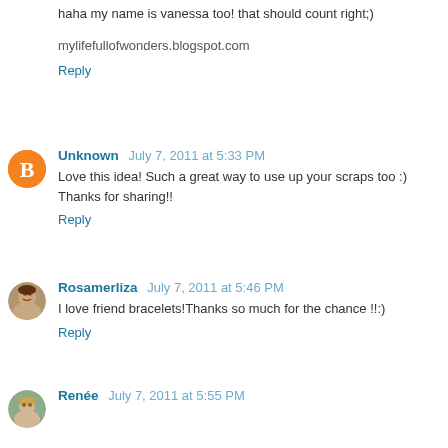haha my name is vanessa too! that should count right;)
mylifefullofwonders.blogspot.com
Reply
Unknown  July 7, 2011 at 5:33 PM
Love this idea! Such a great way to use up your scraps too :) Thanks for sharing!!
Reply
Rosamerliza  July 7, 2011 at 5:46 PM
I love friend bracelets!Thanks so much for the chance !!:)
Reply
Renée  July 7, 2011 at 5:55 PM